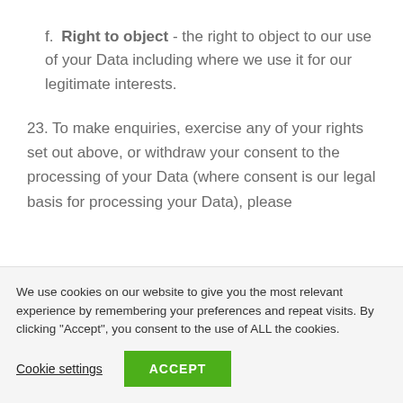f. Right to object - the right to object to our use of your Data including where we use it for our legitimate interests.
23. To make enquiries, exercise any of your rights set out above, or withdraw your consent to the processing of your Data (where consent is our legal basis for processing your Data), please
We use cookies on our website to give you the most relevant experience by remembering your preferences and repeat visits. By clicking "Accept", you consent to the use of ALL the cookies.
Cookie settings
ACCEPT